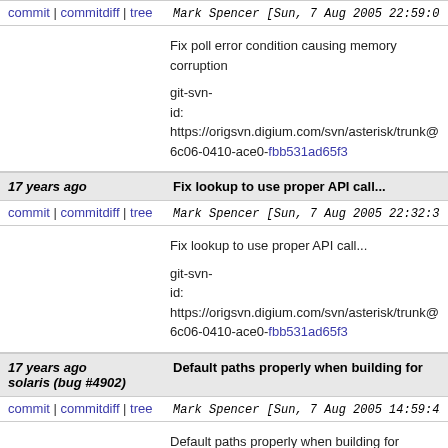commit | commitdiff | tree   Mark Spencer [Sun, 7 Aug 2005 22:59:04 +0000 (22:59 +0000)]
Fix poll error condition causing memory corruption

git-svn-id: https://origsvn.digium.com/svn/asterisk/trunk@
6c06-0410-ace0-fbb531ad65f3
17 years ago   Fix lookup to use proper API call...
commit | commitdiff | tree   Mark Spencer [Sun, 7 Aug 2005 22:32:30 +0000 (22:32 +0000)]
Fix lookup to use proper API call...

git-svn-id: https://origsvn.digium.com/svn/asterisk/trunk@
6c06-0410-ace0-fbb531ad65f3
17 years ago   Default paths properly when building for solaris (bug #4902)
commit | commitdiff | tree   Mark Spencer [Sun, 7 Aug 2005 14:59:41 +0000 (14:59 +0000)]
Default paths properly when building for solaris (b